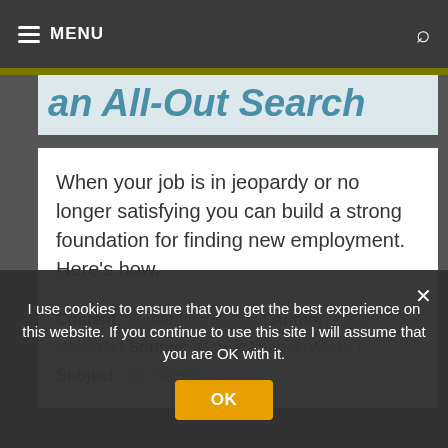≡ MENU
an All-Out Search
When your job is in jeopardy or no longer satisfying you can build a strong foundation for finding new employment. Here's how.
Content: Career Information | Author: Karin Halperin | Source: "CareerJournal (WSJ)" | Subject: Job Search
I use cookies to ensure that you get the best experience on this website. If you continue to use this site I will assume that you are OK with it.